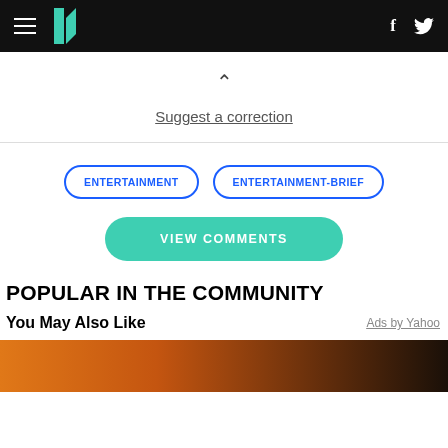HuffPost navigation bar with logo, hamburger menu, Facebook and Twitter icons
^
Suggest a correction
ENTERTAINMENT
ENTERTAINMENT-BRIEF
VIEW COMMENTS
POPULAR IN THE COMMUNITY
You May Also Like
Ads by Yahoo
[Figure (photo): Partial image of an orange/amber colored object, appears to be a guitar or instrument, visible at the bottom of the page]